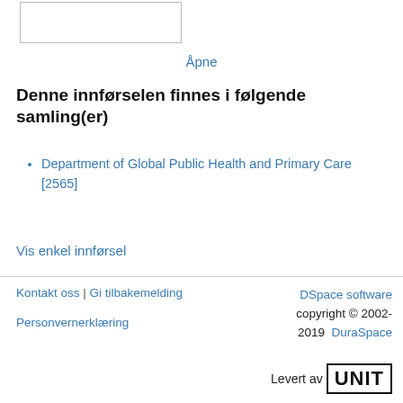[Figure (other): Thumbnail image placeholder box]
Åpne
Denne innførselen finnes i følgende samling(er)
Department of Global Public Health and Primary Care [2565]
Vis enkel innførsel
Kontakt oss | Gi tilbakemelding    Personvernerklæring    DSpace software copyright © 2002-2019 DuraSpace    Levert av UNIT